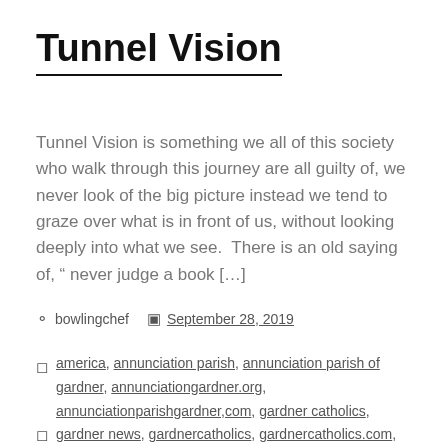Tunnel Vision
Tunnel Vision is something we all of this society who walk through this journey are all guilty of, we never look of the big picture instead we tend to graze over what is in front of us, without looking deeply into what we see. There is an old saying of, “ never judge a book […]
bowlingchef   September 28, 2019
america, annunciation parish, annunciation parish of gardner, annunciationgardner.org, annunciationparishgardner,com, gardner catholics, gardner news, gardnercatholics, gardnercatholics.com, google, Uncategorized